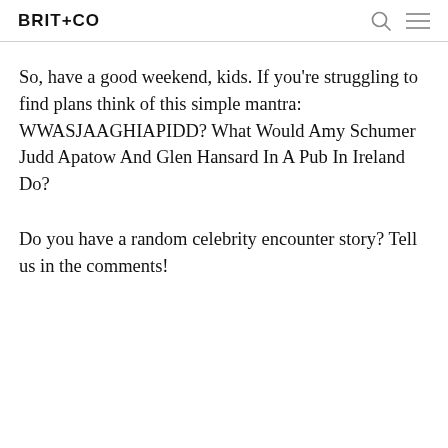BRIT+CO
So, have a good weekend, kids. If you're struggling to find plans think of this simple mantra: WWASJAAGHIAPIDD? What Would Amy Schumer Judd Apatow And Glen Hansard In A Pub In Ireland Do?
Do you have a random celebrity encounter story? Tell us in the comments!